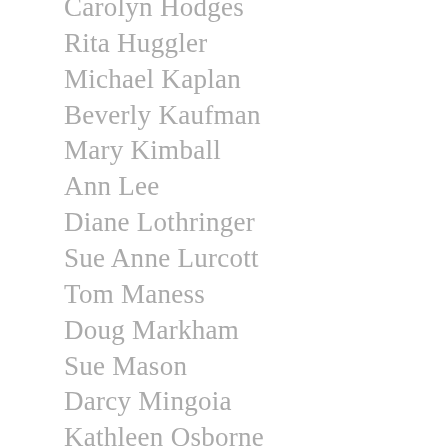Carolyn Hodges
Rita Huggler
Michael Kaplan
Beverly Kaufman
Mary Kimball
Ann Lee
Diane Lothringer
Sue Anne Lurcott
Tom Maness
Doug Markham
Sue Mason
Darcy Mingoia
Kathleen Osborne
Jan Ott
Sue Pellegrino
James Rains
Penny Remick
Debbie Riddle